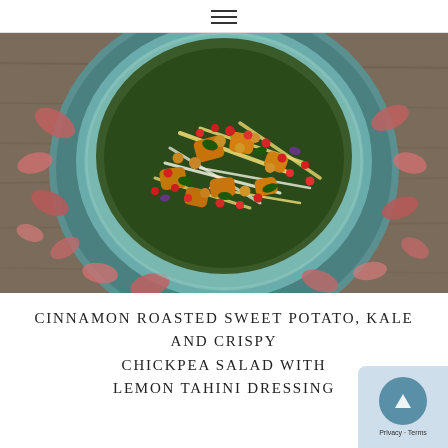≡
[Figure (photo): Overhead shot of a colorful salad bowl on a teal/blue plate, filled with roasted sweet potato chunks, crispy chickpeas, kale, yellow beet matchsticks, pomegranate seeds, and bean sprouts, surrounded by dried rose petals on a rustic wooden surface.]
CINNAMON ROASTED SWEET POTATO, KALE AND CRISPY CHICKPEA SALAD WITH LEMON TAHINI DRESSING